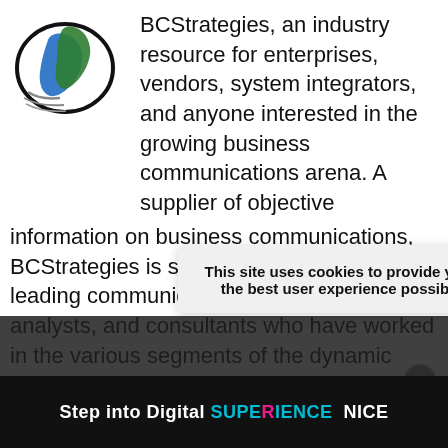[Figure (logo): BCStrategies logo with green and blue swoosh/leaf design on dark oval background]
BCStrategies, an industry resource for enterprises, vendors, system integrators, and anyone interested in the growing business communications arena. A supplier of objective information on business communications, BCStrategies is supported by an alliance of leading communication industry advisors, analysts, and consultants who have worked in the various segments of the dynamic business communications market.
TAGS: APPL WIRE NEWC TPHONES, ATEGIES,
[Figure (screenshot): Cookie consent popup: 'This site uses cookies to provide you with the best user experience possible. By' with X close button]
[Figure (screenshot): Bottom ad banner: 'Step into Digital SUPERIENCE NICE' on dark background with close button]